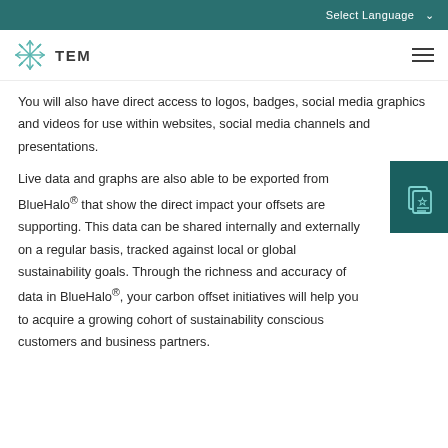Select Language
[Figure (logo): TEM logo with snowflake/starburst icon and TEM text, plus hamburger menu icon]
You will also have direct access to logos, badges, social media graphics and videos for use within websites, social media channels and presentations.
Live data and graphs are also able to be exported from BlueHalo® that show the direct impact your offsets are supporting. This data can be shared internally and externally on a regular basis, tracked against local or global sustainability goals. Through the richness and accuracy of data in BlueHalo®, your carbon offset initiatives will help you to acquire a growing cohort of sustainability conscious customers and business partners.
[Figure (illustration): Teal square icon with a chat/document icon containing a star]